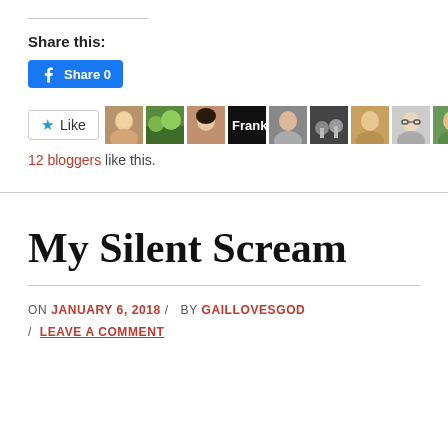Share this:
[Figure (screenshot): Facebook Share button with count 0]
[Figure (screenshot): Like button with star icon and 10 blogger avatar photos]
12 bloggers like this.
My Silent Scream
ON JANUARY 6, 2018 / BY GAILLOVESGOD / LEAVE A COMMENT